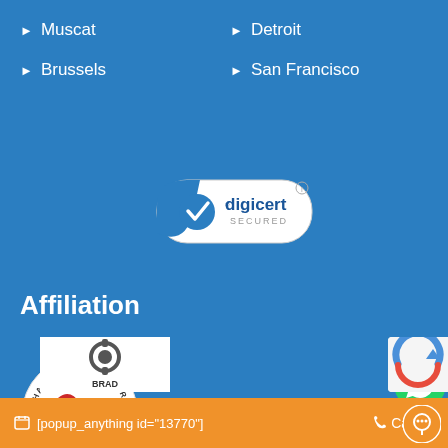▶ Muscat
▶ Brussels
▶ Detroit
▶ San Francisco
[Figure (logo): DigiCert Secured SSL badge - white rounded rectangle with blue checkmark and DigiCert text]
Affiliation
[Figure (logo): Chamber of Commerce .com Verified Member circular badge with red and blue colors]
[Figure (logo): WhatsApp green circle button with white phone/chat icon]
[Figure (logo): Partial BRAD certification logo on white background]
[Figure (logo): Partial reCAPTCHA logo on light grey background]
[popup_anything id="13770"]    Call us